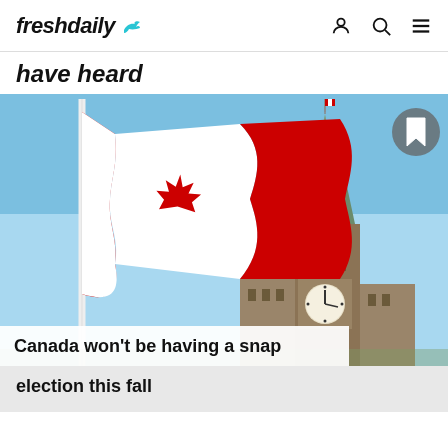freshdaily
have heard
[Figure (photo): Canadian flag waving in the foreground with the Peace Tower of Parliament Hill visible in the background against a blue sky. A bookmark icon button is in the top-right corner of the image.]
Canada won't be having a snap election this fall